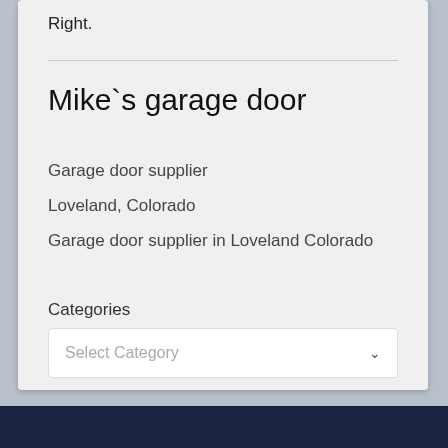Right.
Mike`s garage door
Garage door supplier
Loveland, Colorado
Garage door supplier in Loveland Colorado
Categories
Select Category